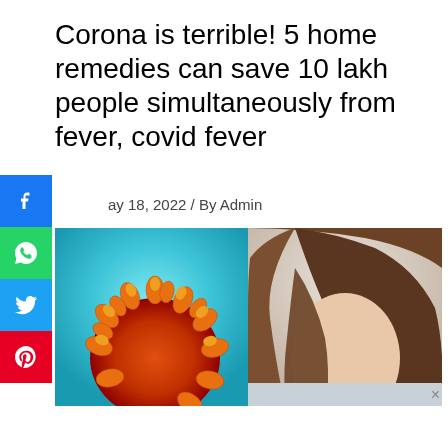Corona is terrible! 5 home remedies can save 10 lakh people simultaneously from fever, covid fever
May 18, 2022 / By Admin
[Figure (photo): Split composite image: left half shows a 3D render of a coronavirus particle (orange spiky ball on teal/aqua background), right half shows a woman with brown hair looking down, possibly sick]